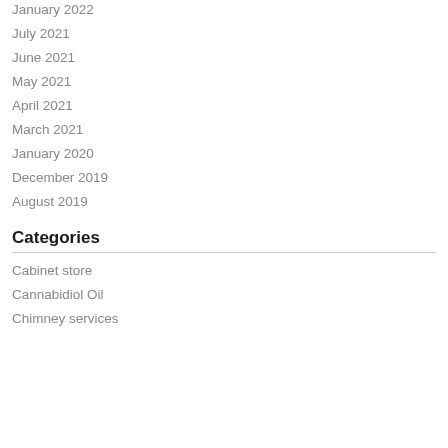January 2022
July 2021
June 2021
May 2021
April 2021
March 2021
January 2020
December 2019
August 2019
Categories
Cabinet store
Cannabidiol Oil
Chimney services